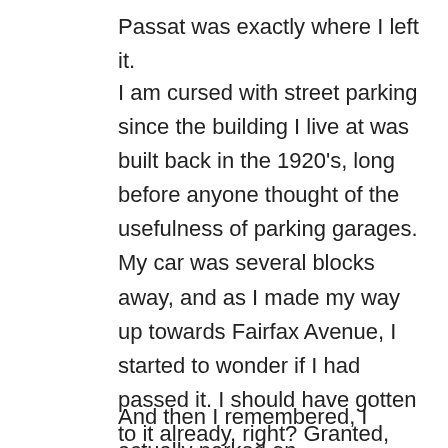Passat was exactly where I left it.
I am cursed with street parking since the building I live at was built back in the 1920's, long before anyone thought of the usefulness of parking garages. My car was several blocks away, and as I made my way up towards Fairfax Avenue, I started to wonder if I had passed it. I should have gotten to it already, right? Granted, there have been times in the past when I have forgotten where I parked, but this usually was after a night of heavy drinking. During the marathon training season, my intake of alcohol is restricted to a great extent.
And then I remembered, I actually parked on